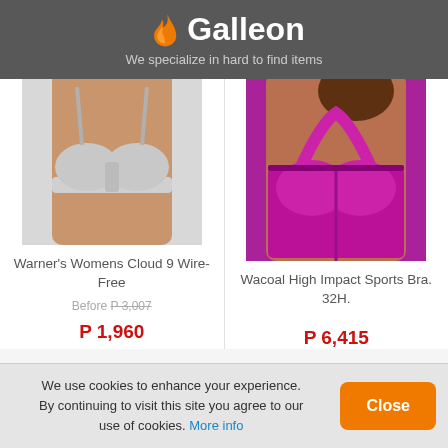Galleon — We specialize in hard to find items
[Figure (photo): Warner's Womens Cloud 9 Wire-Free bra in light grey, worn by a model (torso only)]
Warner's Womens Cloud 9 Wire-Free
Before P 3,007
P 1,960
[Figure (photo): Wacoal High Impact Sports Bra in magenta/purple, worn by a model (torso only)]
Wacoal High Impact Sports Bra. 32H.
P 6,415
We use cookies to enhance your experience. By continuing to visit this site you agree to our use of cookies. More info